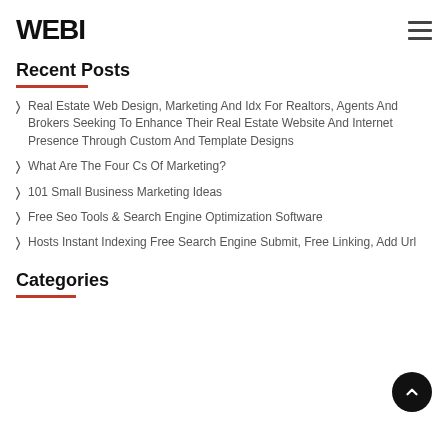WEBI
Recent Posts
Real Estate Web Design, Marketing And Idx For Realtors, Agents And Brokers Seeking To Enhance Their Real Estate Website And Internet Presence Through Custom And Template Designs
What Are The Four Cs Of Marketing?
101 Small Business Marketing Ideas
Free Seo Tools & Search Engine Optimization Software
Hosts Instant Indexing Free Search Engine Submit, Free Linking, Add Url
Categories